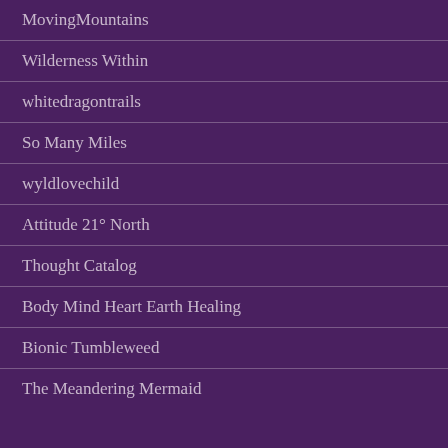MovingMountains
Wilderness Within
whitedragontrails
So Many Miles
wyldlovechild
Attitude 21° North
Thought Catalog
Body Mind Heart Earth Healing
Bionic Tumbleweed
The Meandering Mermaid